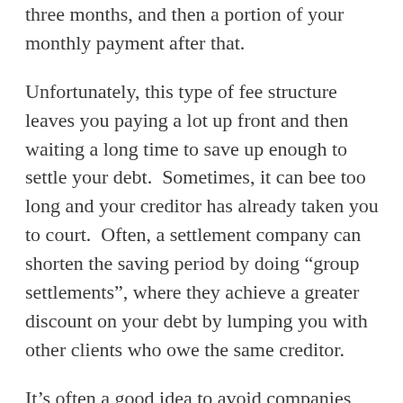three months, and then a portion of your monthly payment after that.
Unfortunately, this type of fee structure leaves you paying a lot up front and then waiting a long time to save up enough to settle your debt.  Sometimes, it can bee too long and your creditor has already taken you to court.  Often, a settlement company can shorten the saving period by doing “group settlements”, where they achieve a greater discount on your debt by lumping you with other clients who owe the same creditor.
It’s often a good idea to avoid companies that charge a large “upfront” fee.  The better plan is to go with a reliable company that you pay on a